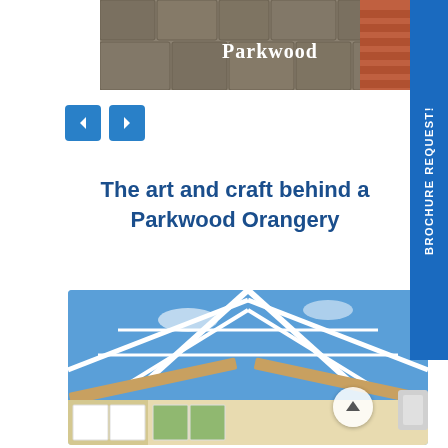[Figure (photo): Top image showing stone paving with 'Parkwood' text overlay, partial view of a brick building]
[Figure (screenshot): Navigation arrows (left and right) in blue rounded square buttons]
The art and craft behind a Parkwood Orangery
[Figure (photo): Interior photo of a Parkwood Orangery showing glass lantern roof with wooden beams, blue sky visible through glass panels, interior view with white window frames and garden beyond]
[Figure (infographic): BROCHURE REQUEST! vertical blue tab on right side of page]